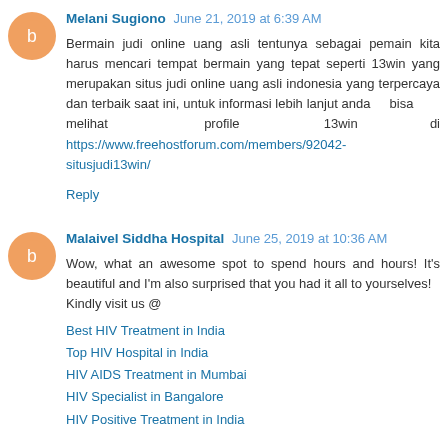Melani Sugiono June 21, 2019 at 6:39 AM
Bermain judi online uang asli tentunya sebagai pemain kita harus mencari tempat bermain yang tepat seperti 13win yang merupakan situs judi online uang asli indonesia yang terpercaya dan terbaik saat ini, untuk informasi lebih lanjut anda bisa melihat profile 13win di https://www.freehostforum.com/members/92042-situsjudi13win/
Reply
Malaivel Siddha Hospital June 25, 2019 at 10:36 AM
Wow, what an awesome spot to spend hours and hours! It's beautiful and I'm also surprised that you had it all to yourselves!
Kindly visit us @
Best HIV Treatment in India
Top HIV Hospital in India
HIV AIDS Treatment in Mumbai
HIV Specialist in Bangalore
HIV Positive Treatment in India